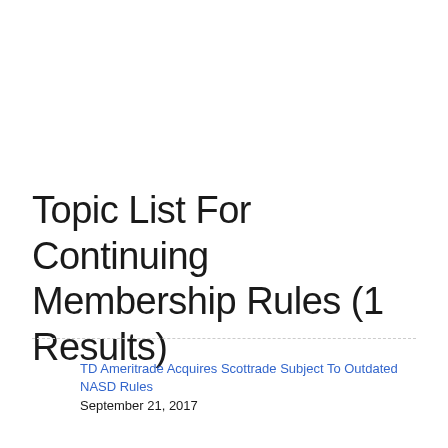Topic List For Continuing Membership Rules (1 Results)
TD Ameritrade Acquires Scottrade Subject To Outdated NASD Rules
September 21, 2017